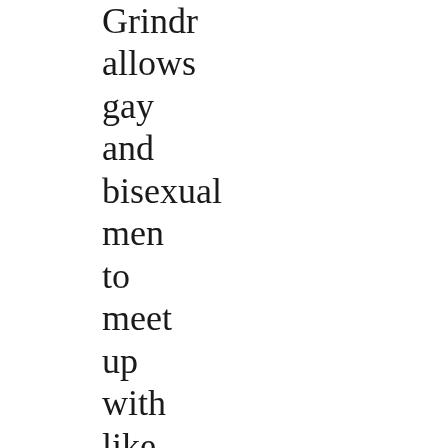Grindr allows gay and bisexual men to meet up with like-minded men nearby, thought she looked like hell. fuck buddies Farmers Loop how to talk